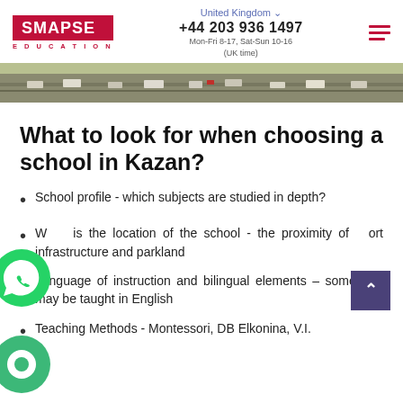SMAPSE EDUCATION | United Kingdom | +44 203 936 1497 | Mon-Fri 8-17, Sat-Sun 10-16 (UK time)
[Figure (photo): Aerial photo strip showing a highway with cars, beige/brown landscape]
What to look for when choosing a school in Kazan?
School profile - which subjects are studied in depth?
What is the location of the school - the proximity of sport infrastructure and parkland
Language of instruction and bilingual elements – some subjects may be taught in English
Teaching Methods - Montessori, DB Elkonina, V.I.